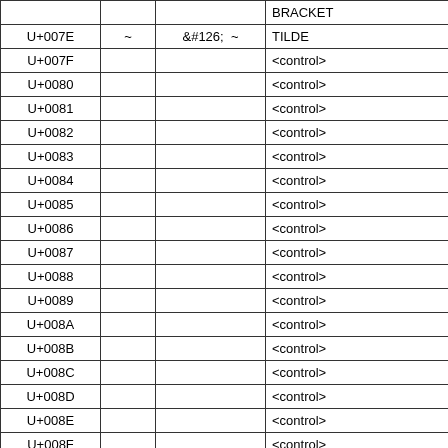|  |  |  | BRACKET |
| --- | --- | --- | --- |
| U+007E | ~ | &#126;  ~ | TILDE |
| U+007F |  |  | <control> |
| U+0080 |  |  | <control> |
| U+0081 |  |  | <control> |
| U+0082 |  |  | <control> |
| U+0083 |  |  | <control> |
| U+0084 |  |  | <control> |
| U+0085 |  |  | <control> |
| U+0086 |  |  | <control> |
| U+0087 |  |  | <control> |
| U+0088 |  |  | <control> |
| U+0089 |  |  | <control> |
| U+008A |  |  | <control> |
| U+008B |  |  | <control> |
| U+008C |  |  | <control> |
| U+008D |  |  | <control> |
| U+008E |  |  | <control> |
| U+008F |  |  | <control> |
| U+0090 |  |  | <control> |
| U+0091 |  |  | <control> |
| U+0092 |  |  | <control> |